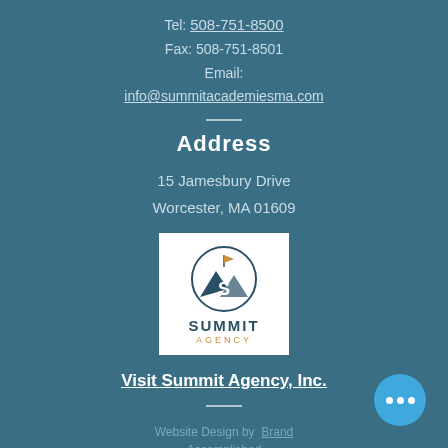Tel: 508-751-8500
Fax: 508-751-8501
Email:
info@summitacademiesma.com
Address
15 Jamesbury Drive
Worcester, MA 01609
[Figure (logo): Summit Agency logo with mountain icon in circular border, text SUMMIT AGENCY below]
Visit Summit Agency, Inc.
Website Design by Brand Accomplished